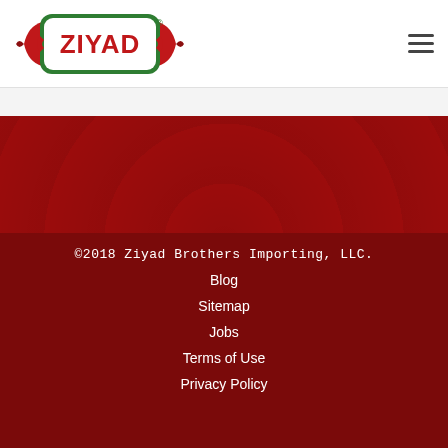[Figure (logo): Ziyad brand logo with red ribbon banner and green border, white background]
[Figure (other): Hamburger menu icon (three horizontal lines) in top right corner]
[Figure (other): Dark red section with subtle circular pattern marks — main body background]
©2018 Ziyad Brothers Importing, LLC.
Blog
Sitemap
Jobs
Terms of Use
Privacy Policy